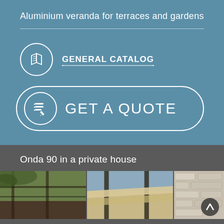Aluminium veranda for terraces and gardens
[Figure (illustration): Circular icon with open book/catalog graphic]
GENERAL CATALOG
[Figure (illustration): Large rounded button with checklist/pencil icon and GET A QUOTE text]
Onda 90 in a private house
[Figure (photo): Three photos showing aluminium pergola/veranda installation at a private house, with canvas roofing and stone wall detail]